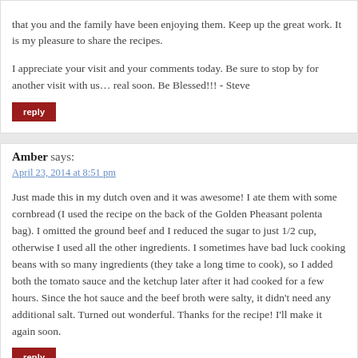that you and the family have been enjoying them. Keep up the great work. It is my pleasure to share the recipes.
I appreciate your visit and your comments today. Be sure to stop by for another visit with us… real soon. Be Blessed!!! - Steve
reply
Amber says:
April 23, 2014 at 8:51 pm
Just made this in my dutch oven and it was awesome! I ate them with some cornbread (I used the recipe on the back of the Golden Pheasant polenta bag). I omitted the ground beef and I reduced the sugar to just 1/2 cup, otherwise I used all the other ingredients. I sometimes have bad luck cooking beans with so many ingredients (they take a long time to cook), so I added both the tomato sauce and the ketchup later after it had cooked for a few hours. Since the hot sauce and the beef broth were salty, it didn't need any additional salt. Turned out wonderful. Thanks for the recipe! I'll make it again soon.
reply